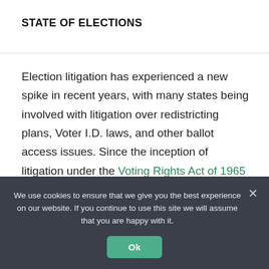STATE OF ELECTIONS
Election litigation has experienced a new spike in recent years, with many states being involved with litigation over redistricting plans, Voter I.D. laws, and other ballot access issues. Since the inception of litigation under the Voting Rights Act of 1965 (VRA), there has been a consistent
We use cookies to ensure that we give you the best experience on our website. If you continue to use this site we will assume that you are happy with it.